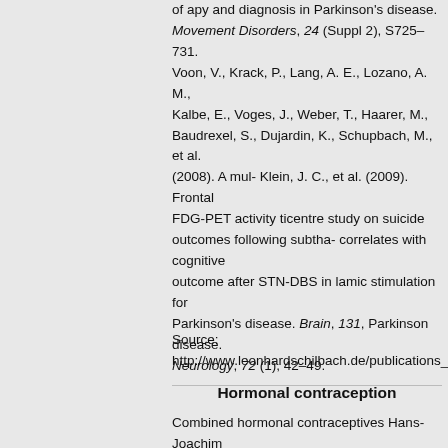of apy and diagnosis in Parkinson's disease. Movement Disorders, 24 (Suppl 2), S725–731. Voon, V., Krack, P., Lang, A. E., Lozano, A. M., Kalbe, E., Voges, J., Weber, T., Haarer, M., Baudrexel, S., Dujardin, K., Schupbach, M., et al. (2008). A mul- Klein, J. C., et al. (2009). Frontal FDG-PET activity ticentre study on suicide outcomes following subtha- correlates with cognitive outcome after STN-DBS in lamic stimulation for Parkinson's disease. Brain, 131, Parkinson disease. Neurology, 72 (1), 42–49.
Source: http://www.leonhardschilbach.de/publications_files/Schilbach_Ne
Hormonal contraception
Combined hormonal contraceptives Hans-Joachim Ahrendt, Magdeburg Praxis für Frauenheilkunde, Klinische Forschung und Weiterbildung (Clinical research and further education), Magdeburg, Germany Reviewers: Kai J. Bühling, Hamburg e Medicine and Petra Stute, Bern SummaryIn the past years, hormonal contraception underwent sub